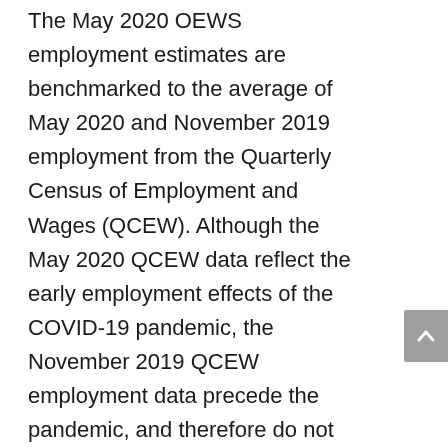The May 2020 OEWS employment estimates are benchmarked to the average of May 2020 and November 2019 employment from the Quarterly Census of Employment and Wages (QCEW). Although the May 2020 QCEW data reflect the early employment effects of the COVID-19 pandemic, the November 2019 QCEW employment data precede the pandemic, and therefore do not reflect its impact.
In addition, as a result of the pandemic,